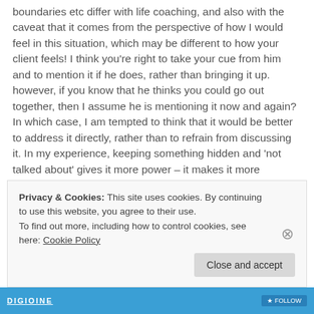boundaries etc differ with life coaching, and also with the caveat that it comes from the perspective of how I would feel in this situation, which may be different to how your client feels! I think you're right to take your cue from him and to mention it if he does, rather than bringing it up. however, if you know that he thinks you could go out together, then I assume he is mentioning it now and again? In which case, I am tempted to think that it would be better to address it directly, rather than to refrain from discussing it. In my experience, keeping something hidden and 'not talked about' gives it more power – it makes it more mysterious, more exciting, and it 'keeps hope alive' and allows fantasy and speculation to grow. While you are silent on the matter, he is able to continue to fantasize that you might be interested, that you may actually
Privacy & Cookies: This site uses cookies. By continuing to use this website, you agree to their use.
To find out more, including how to control cookies, see here: Cookie Policy
Close and accept